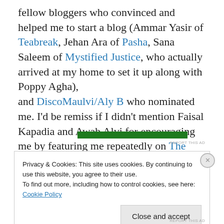fellow bloggers who convinced and helped me to start a blog (Ammar Yasir of Teabreak, Jehan Ara of Pasha, Sana Saleem of Mystified Justice, who actually arrived at my home to set it up along with Poppy Agha), and DiscoMaulvi/Aly B who nominated me. I'd be remiss if I didn't mention Faisal Kapadia and Awab Alvi for encouraging me by featuring me repeatedly on The Laidback Show.
[Figure (other): Green advertisement banner bar with 'REPORT THIS AD' text to the right]
Privacy & Cookies: This site uses cookies. By continuing to use this website, you agree to their use.
To find out more, including how to control cookies, see here: Cookie Policy